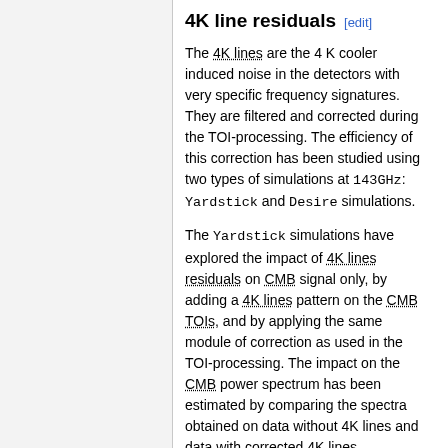4K line residuals [edit]
The 4K lines are the 4 K cooler induced noise in the detectors with very specific frequency signatures. They are filtered and corrected during the TOI-processing. The efficiency of this correction has been studied using two types of simulations at 143GHz: Yardstick and Desire simulations.
The Yardstick simulations have explored the impact of 4K lines residuals on CMB signal only, by adding a 4K lines pattern on the CMB TOIs, and by applying the same module of correction as used in the TOI-processing. The impact on the CMB power spectrum has been estimated by comparing the spectra obtained on data without 4K lines and data with corrected 4K lines